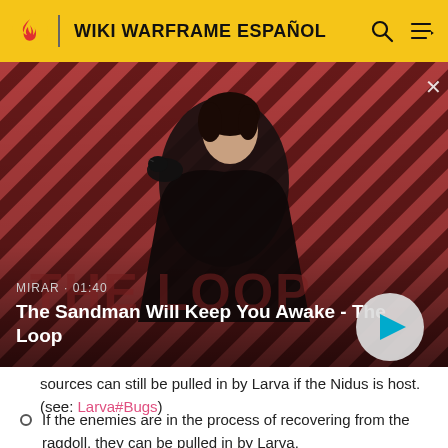WIKI WARFRAME ESPAÑOL
[Figure (screenshot): Video thumbnail for 'The Sandman Will Keep You Awake - The Loop' showing a dark-robed figure with a crow on their shoulder against a red diagonal striped background. Shows MIRAR · 01:40 label and a play button.]
sources can still be pulled in by Larva if the Nidus is host. (see: Larva#Bugs)
If the enemies are in the process of recovering from the ragdoll, they can be pulled in by Larva.